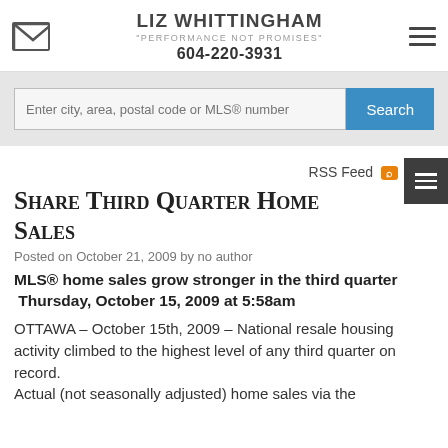LIZ WHITTINGHAM
"PERFORMANCE NOT PROMISES"
604-220-3931
[Figure (screenshot): Search bar with placeholder text 'Enter city, area, postal code or MLS® number' and a blue Search button]
RSS Feed
Share Third Quarter Home Sales
Posted on October 21, 2009 by no author
MLS® home sales grow stronger in the third quarter Thursday, October 15, 2009 at 5:58am
OTTAWA – October 15th, 2009 – National resale housing activity climbed to the highest level of any third quarter on record.
Actual (not seasonally adjusted) home sales via the